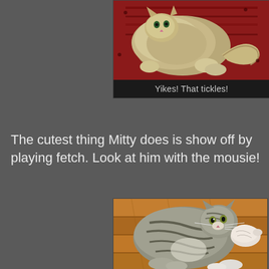[Figure (photo): A cat lying on a red patterned rug/carpet, being tickled or played with. Caption reads 'Yikes! That tickles!']
Yikes! That tickles!
The cutest thing Mitty does is show off by playing fetch. Look at him with the mousie!
[Figure (photo): A tabby cat (Mitty) holding a toy mouse in its mouth, photographed from above on a wooden floor]